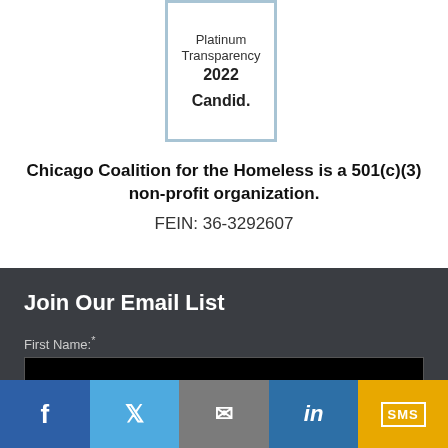[Figure (logo): Platinum Transparency 2022 Candid. badge with light blue border]
Chicago Coalition for the Homeless is a 501(c)(3) non-profit organization.
FEIN: 36-3292607
Join Our Email List
First Name:*